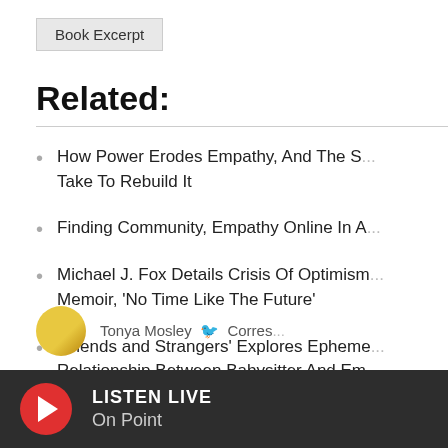Book Excerpt
Related:
How Power Erodes Empathy, And The S... Take To Rebuild It
Finding Community, Empathy Online In A...
Michael J. Fox Details Crisis Of Optimism... Memoir, 'No Time Like The Future'
'Friends and Strangers' Explores Epheme... Relationship Between Babysitter And Em...
serve you. And gives you a chance to win WBUR swag!
SHARE YO
Tonya Mosley  Corres...
LISTEN LIVE
On Point